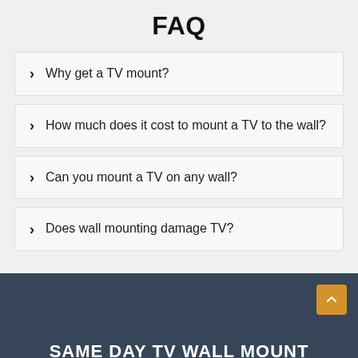FAQ
Why get a TV mount?
How much does it cost to mount a TV to the wall?
Can you mount a TV on any wall?
Does wall mounting damage TV?
SAME DAY TV WALL MOUNT